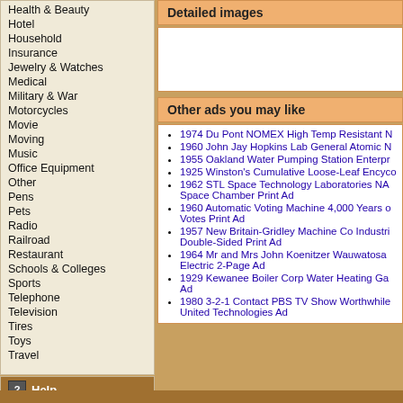Health & Beauty
Hotel
Household
Insurance
Jewelry & Watches
Medical
Military & War
Motorcycles
Movie
Moving
Music
Office Equipment
Other
Pens
Pets
Radio
Railroad
Restaurant
Schools & Colleges
Sports
Telephone
Television
Tires
Toys
Travel
Help
Recover password
Privacy statement
Terms & Conditions
Detailed images
Other ads you may like
1974 Du Pont NOMEX High Temp Resistant N
1960 John Jay Hopkins Lab General Atomic N
1955 Oakland Water Pumping Station Enterpr
1925 Winston's Cumulative Loose-Leaf Encyco
1962 STL Space Technology Laboratories NA Space Chamber Print Ad
1960 Automatic Voting Machine 4,000 Years o Votes Print Ad
1957 New Britain-Gridley Machine Co Industri Double-Sided Print Ad
1964 Mr and Mrs John Koenitzer Wauwatosa Electric 2-Page Ad
1929 Kewanee Boiler Corp Water Heating Ga Ad
1980 3-2-1 Contact PBS TV Show Worthwhile United Technologies Ad